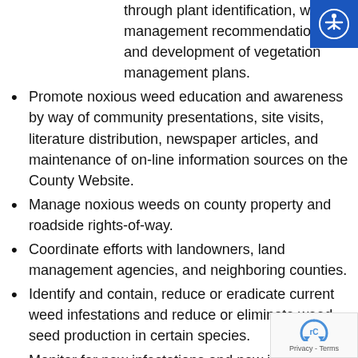through plant identification, weed management recommendations, and development of vegetation management plans.
Promote noxious weed education and awareness by way of community presentations, site visits, literature distribution, newspaper articles, and maintenance of on-line information sources on the County Website.
Manage noxious weeds on county property and roadside rights-of-way.
Coordinate efforts with landowners, land management agencies, and neighboring counties.
Identify and contain, reduce or eradicate current weed infestations and reduce or eliminate weed seed production in certain species.
Monitor for new infestations and new invasive species so as to prevent new encroachments unincorporated lands in the County.